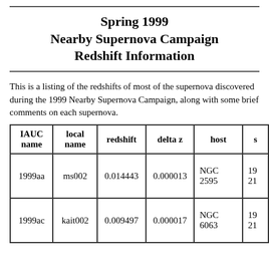Spring 1999 Nearby Supernova Campaign Redshift Information
This is a listing of the redshifts of most of the supernova discovered during the 1999 Nearby Supernova Campaign, along with some brief comments on each supernova.
| IAUC name | local name | redshift | delta z | host | s |
| --- | --- | --- | --- | --- | --- |
| 1999aa | ms002 | 0.014443 | 0.000013 | NGC 2595 | 19
21 |
| 1999ac | kait002 | 0.009497 | 0.000017 | NGC 6063 | 19
21 |